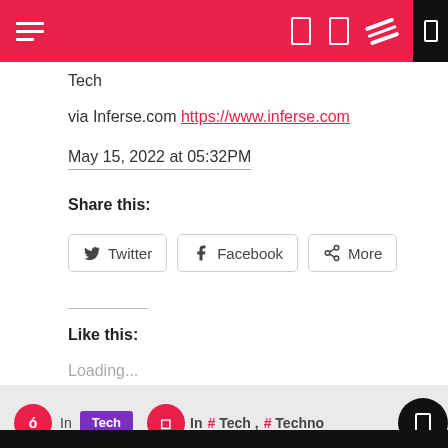Navigation bar with hamburger menu and icons
Tech
via Inferse.com https://www.inferse.com
May 15, 2022 at 05:32PM
Share this:
Twitter  Facebook  More
Like this:
Loading...
In Tech   In # Tech , # Techno